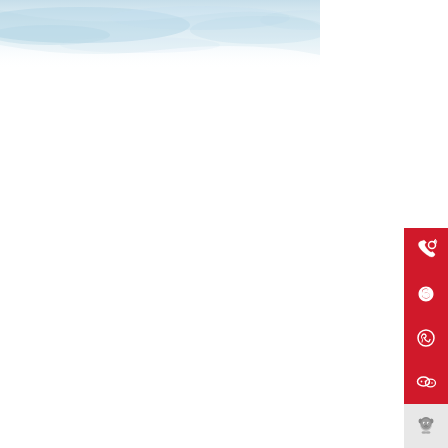[Figure (illustration): Light blue watercolor sky image in the top-left corner of the page]
[Figure (infographic): Vertical bar of 5 contact/social media icons on the right side: phone (red), Skype (red), WhatsApp (red), WeChat (red), QQ (light gray)]